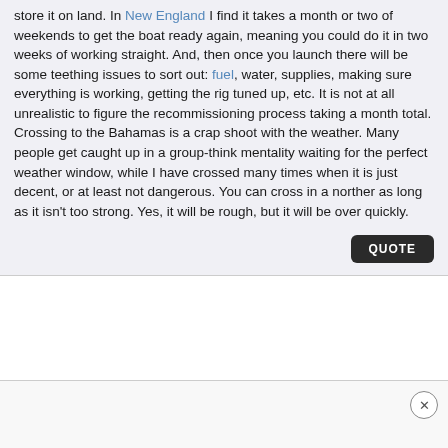store it on land. In New England I find it takes a month or two of weekends to get the boat ready again, meaning you could do it in two weeks of working straight. And, then once you launch there will be some teething issues to sort out: fuel, water, supplies, making sure everything is working, getting the rig tuned up, etc. It is not at all unrealistic to figure the recommissioning process taking a month total. Crossing to the Bahamas is a crap shoot with the weather. Many people get caught up in a group-think mentality waiting for the perfect weather window, while I have crossed many times when it is just decent, or at least not dangerous. You can cross in a norther as long as it isn't too strong. Yes, it will be rough, but it will be over quickly.